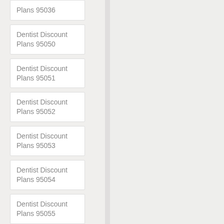Plans 95036
Dentist Discount Plans 95050
Dentist Discount Plans 95051
Dentist Discount Plans 95052
Dentist Discount Plans 95053
Dentist Discount Plans 95054
Dentist Discount Plans 95055